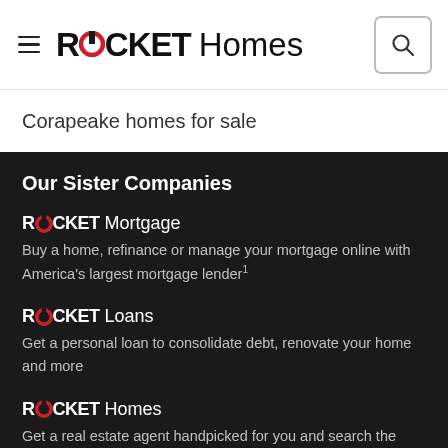ROCKET Homes
Corapeake homes for sale
Our Sister Companies
ROCKET Mortgage
Buy a home, refinance or manage your mortgage online with America's largest mortgage lender¹
ROCKET Loans
Get a personal loan to consolidate debt, renovate your home and more
ROCKET Homes
Get a real estate agent handpicked for you and search the latest home listings